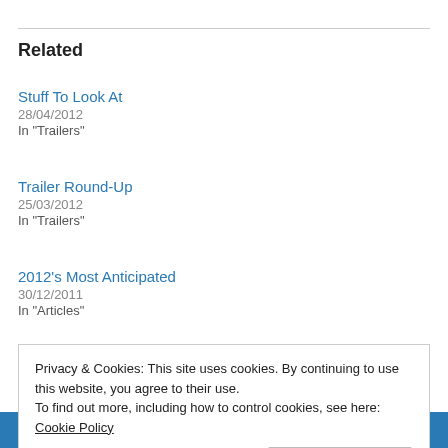Related
Stuff To Look At
28/04/2012
In "Trailers"
Trailer Round-Up
25/03/2012
In "Trailers"
2012's Most Anticipated
30/12/2011
In "Articles"
Privacy & Cookies: This site uses cookies. By continuing to use this website, you agree to their use.
To find out more, including how to control cookies, see here: Cookie Policy
« Previous   Next »